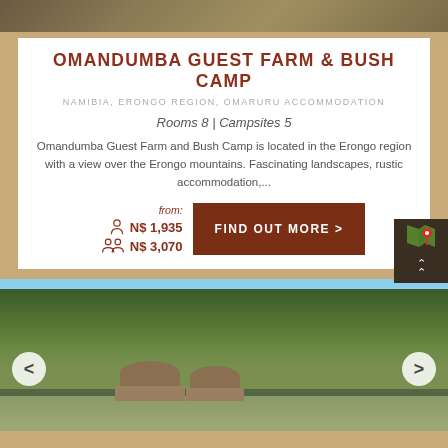[Figure (photo): Top landscape/nature strip photo]
OMANDUMBA GUEST FARM & BUSH CAMP
NAMIBIA, ERONGO REGION, OMARURU ACCOMMODATION
Rooms 8 | Campsites 5
Omandumba Guest Farm and Bush Camp is located in the Erongo region with a view over the Erongo mountains. Fascinating landscapes, rustic accommodation,...
from: N$ 1,935 / N$ 3,070
FIND OUT MORE >
[Figure (photo): Bush camp with thatched roof huts among large trees]